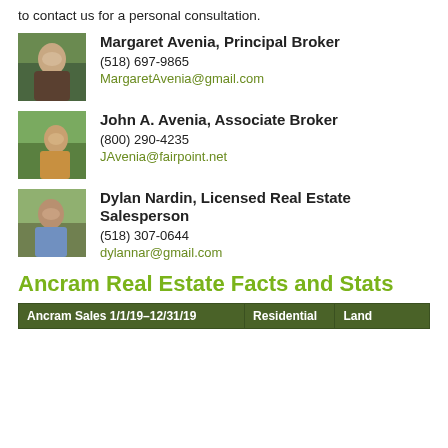to contact us for a personal consultation.
Margaret Avenia, Principal Broker
(518) 697-9865
MargaretAvenia@gmail.com
John A. Avenia, Associate Broker
(800) 290-4235
JAvenia@fairpoint.net
Dylan Nardin, Licensed Real Estate Salesperson
(518) 307-0644
dylannar@gmail.com
Ancram Real Estate Facts and Stats
| Ancram Sales 1/1/19–12/31/19 | Residential | Land |
| --- | --- | --- |